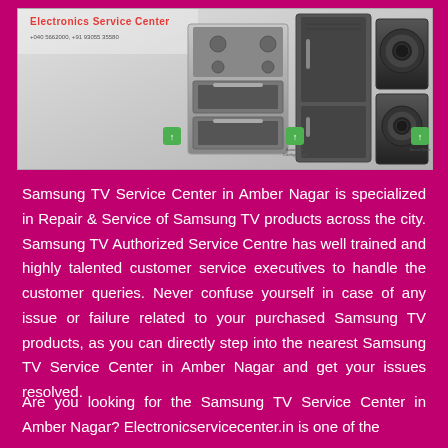[Figure (photo): Electronics Service Center banner showing kitchen and laundry appliances (stove, refrigerator, washing machine) on a grey background with red text header and phone numbers]
Samsung TV Service Center in Amber Nagar is specialized in Repair & Service of Samsung TV products across the city. Samsung TV Authorized Service Centre has well trained and highly talented customer service executives to handle the customer queries. Never confuse yourself in case of any issue or failure related to your purchased Samsung TV products, as you can directly step into the nearest Samsung TV Service Center in Amber Nagar and get your issues resolved.
Are you looking for the Samsung TV Service Center in Amber Nagar? Electronicservicecenter.in is one of the